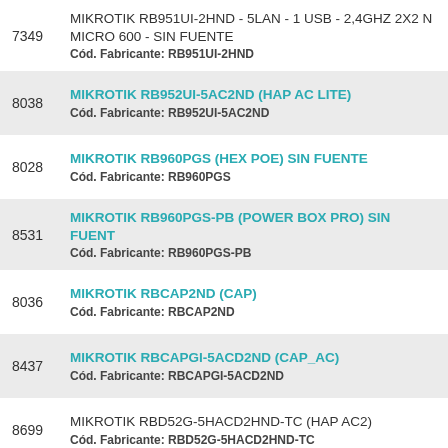7349 MIKROTIK RB951UI-2HND - 5LAN - 1 USB - 2,4GHZ 2X2 N MICRO 600 - SIN FUENTE
Cód. Fabricante: RB951UI-2HND
8038 MIKROTIK RB952UI-5AC2ND (HAP AC LITE)
Cód. Fabricante: RB952UI-5AC2ND
8028 MIKROTIK RB960PGS (HEX POE) SIN FUENTE
Cód. Fabricante: RB960PGS
8531 MIKROTIK RB960PGS-PB (POWER BOX PRO) SIN FUENTE
Cód. Fabricante: RB960PGS-PB
8036 MIKROTIK RBCAP2ND (CAP)
Cód. Fabricante: RBCAP2ND
8437 MIKROTIK RBCAPGI-5ACD2ND (CAP_AC)
Cód. Fabricante: RBCAPGI-5ACD2ND
8699 MIKROTIK RBD52G-5HACD2HND-TC (HAP AC2)
Cód. Fabricante: RBD52G-5HACD2HND-TC
8533 MIKROTIK RBD53IG-5HACD2HND (HAP AC3) SIN FUENTE
Cód. Fabricante: RBD53IG-5HACD2HND
8700 MIKROTIK RBDISC-5ND
Cód. Fabricante: RBDISC-5ND
8798 MIKROTIK RBDISC-5ND.
Cód. Fabricante: RBDISC-5ND